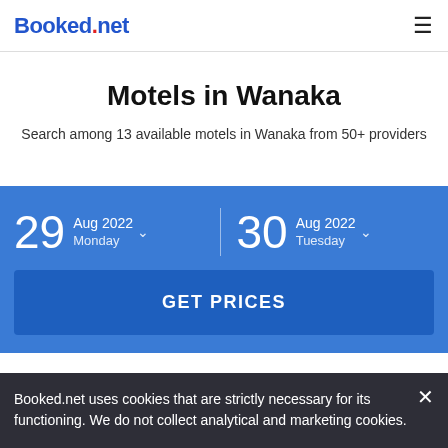Booked.net
Motels in Wanaka
Search among 13 available motels in Wanaka from 50+ providers
29 Aug 2022 Monday
30 Aug 2022 Tuesday
GET PRICES
Booked.net uses cookies that are strictly necessary for its functioning. We do not collect analytical and marketing cookies.